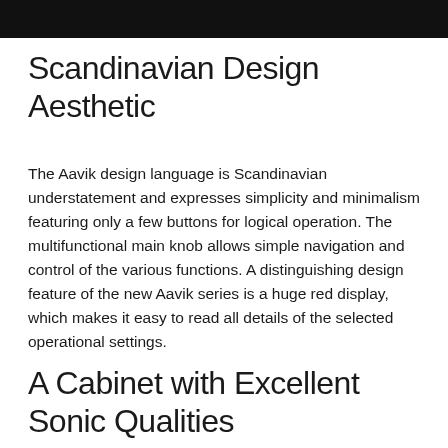[Figure (photo): Dark photograph strip at the top of the page, partially visible, showing a dark scene.]
Scandinavian Design Aesthetic
The Aavik design language is Scandinavian understatement and expresses simplicity and minimalism featuring only a few buttons for logical operation. The multifunctional main knob allows simple navigation and control of the various functions. A distinguishing design feature of the new Aavik series is a huge red display, which makes it easy to read all details of the selected operational settings.
A Cabinet with Excellent Sonic Qualities